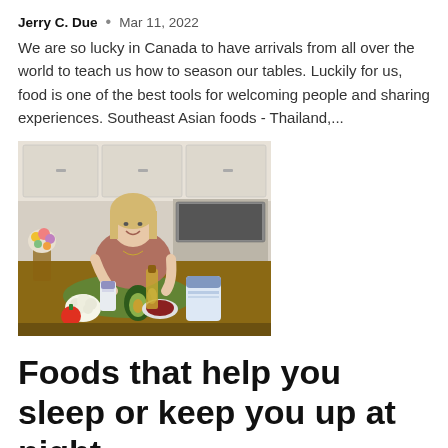Jerry C. Due  •  Mar 11, 2022
We are so lucky in Canada to have arrivals from all over the world to teach us how to season our tables. Luckily for us, food is one of the best tools for welcoming people and sharing experiences. Southeast Asian foods - Thailand,...
[Figure (photo): Woman sitting at a kitchen table with various foods and supplement bottles in front of her, smiling at the camera. Kitchen background with white cabinets and flowers.]
Foods that help you sleep or keep you up at night
Jerry C. Due  •  Mar 11, 2022
Do you wake up too often in the wee hours of the morning? Well,